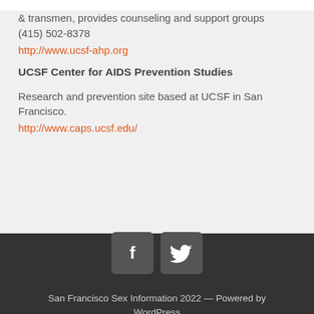Anonymous and confidential HIV tests for queer men & transmen, provides counseling and support groups (415) 502-8378
http://www.ucsf-ahp.org
UCSF Center for AIDS Prevention Studies
Research and prevention site based at UCSF in San Francisco.
http://www.caps.ucsf.edu/
San Francisco Sex Information 2022 — Powered by WordPress